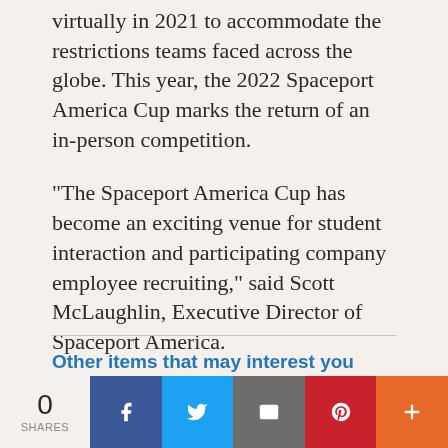virtually in 2021 to accommodate the restrictions teams faced across the globe. This year, the 2022 Spaceport America Cup marks the return of an in-person competition.
"The Spaceport America Cup has become an exciting venue for student interaction and participating company employee recruiting," said Scott McLaughlin, Executive Director of Spaceport America.
Other items that may interest you
[Figure (other): Social share bar with share count (0 SHARES), Facebook, Twitter, Email, Pinterest, and More (+) buttons]